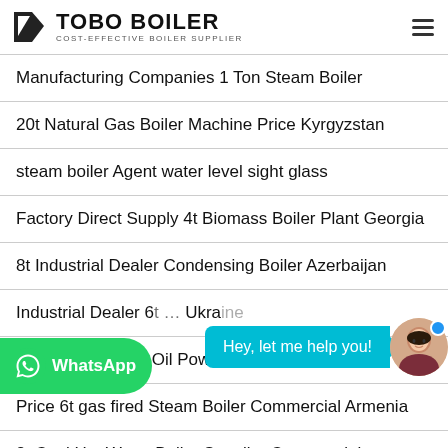TOBO BOILER — COST-EFFECTIVE BOILER SUPPLIER
Manufacturing Companies 1 Ton Steam Boiler
20t Natural Gas Boiler Machine Price Kyrgyzstan
steam boiler Agent water level sight glass
Factory Direct Supply 4t Biomass Boiler Plant Georgia
8t Industrial Dealer Condensing Boiler Azerbaijan
Industrial Dealer 6t … Ukraine
High Efficiency 6t Oil Powered Boiler Brand
Price 6t gas fired Steam Boiler Commercial Armenia
8t Coal Hot Water Boiler Supplier Commercial